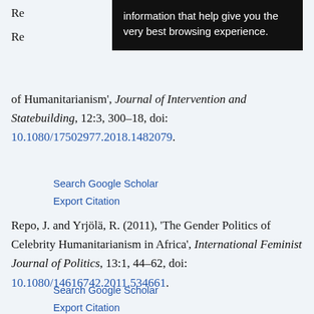Re[...] Re[...] of Humanitarianism', Journal of Intervention and Statebuilding, 12:3, 300–18, doi: 10.1080/17502977.2018.1482079.
Search Google Scholar | Export Citation
Repo, J. and Yrjölä, R. (2011), 'The Gender Politics of Celebrity Humanitarianism in Africa', International Feminist Journal of Politics, 13:1, 44–62, doi: 10.1080/14616742.2011.534661.
Search Google Scholar | Export Citation